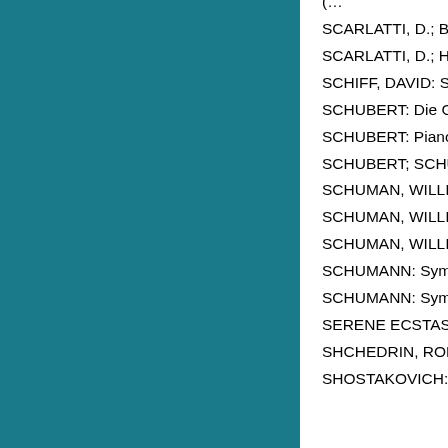SCARLATTI, D.; BACH, FRIDERIC (Smaro Greg…
SCARLATTI, D.; HAND…
SCHIFF, DAVID: Scene… Northwest)
SCHUBERT: Die Götte…
SCHUBERT: Piano So…
SCHUBERT; SCHUBE…
SCHUMAN, WILLIAM:… Schwarz)
SCHUMAN, WILLIAM;…
SCHUMAN, WILLIAM;…
SCHUMANN: Sympho…
SCHUMANN: Sympho… Schwarz)
SERENE ECSTASY: T… Kontorovich)
SHCHEDRIN, RODION…
SHOSTAKOVICH: Alon…